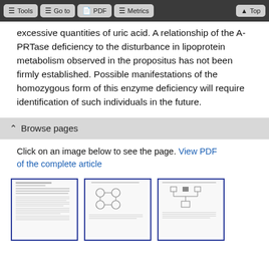Tools  Go to  PDF  Metrics  Top
excessive quantities of uric acid. A relationship of the A-PRTase deficiency to the disturbance in lipoprotein metabolism observed in the propositus has not been firmly established. Possible manifestations of the homozygous form of this enzyme deficiency will require identification of such individuals in the future.
Browse pages
Click on an image below to see the page. View PDF of the complete article
[Figure (screenshot): Three thumbnail images of article pages shown side by side with blue borders]
[Figure (screenshot): Second thumbnail of article page with chemical diagrams]
[Figure (screenshot): Third thumbnail of article page with figures and text]